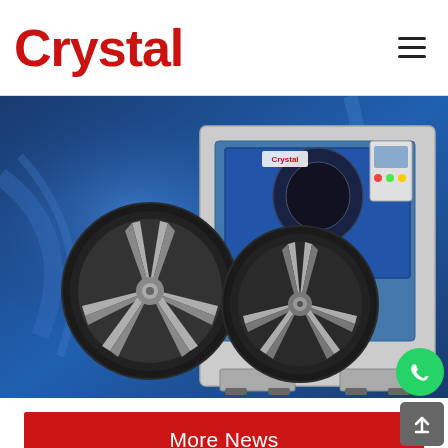Crystal
[Figure (photo): Industrial CNC wheel machining center (blue machine) with two finished alloy wheels (black and silver finish) in foreground, on a blue metallic background]
More News